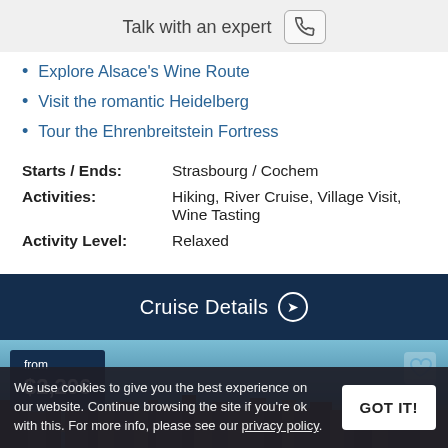Talk with an expert
Explore Alsace's Wine Route
Visit the romantic Heidelberg
Tour the Ehrenbreitstein Fortress
Starts / Ends: Strasbourg / Cochem
Activities: Hiking, River Cruise, Village Visit, Wine Tasting
Activity Level: Relaxed
Cruise Details
[Figure (photo): City skyline photo with price badge showing 'from $2,206' and a heart/favorite icon]
We use cookies to give you the best experience on our website. Continue browsing the site if you're ok with this. For more info, please see our privacy policy.